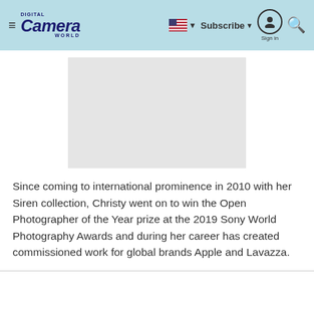Digital Camera World — Subscribe | Sign in | Search
[Figure (photo): A placeholder gray image area representing a photograph]
Since coming to international prominence in 2010 with her Siren collection, Christy went on to win the Open Photographer of the Year prize at the 2019 Sony World Photography Awards and during her career has created commissioned work for global brands Apple and Lavazza.